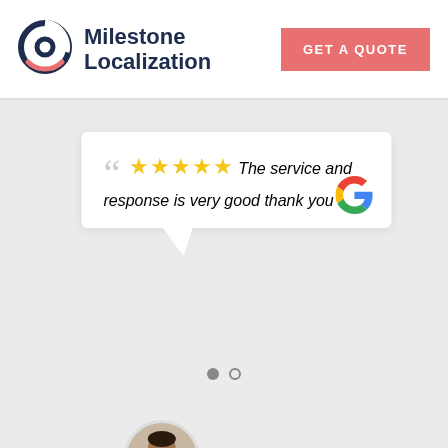[Figure (logo): Milestone Localization logo with circular icon and company name]
GET A QUOTE
The service and response is very good thank you
VASANTH B.L.
[Figure (photo): Profile photo of reviewer Vasanth B.L.]